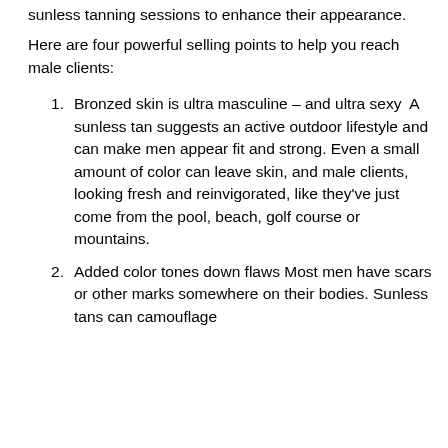sunless tanning sessions to enhance their appearance.
Here are four powerful selling points to help you reach male clients:
Bronzed skin is ultra masculine – and ultra sexy  A sunless tan suggests an active outdoor lifestyle and can make men appear fit and strong. Even a small amount of color can leave skin, and male clients, looking fresh and reinvigorated, like they've just come from the pool, beach, golf course or mountains.
Added color tones down flaws Most men have scars or other marks somewhere on their bodies. Sunless tans can camouflage